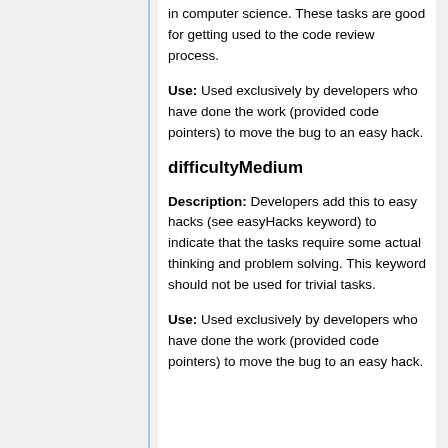in computer science. These tasks are good for getting used to the code review process.
Use: Used exclusively by developers who have done the work (provided code pointers) to move the bug to an easy hack.
difficultyMedium
Description: Developers add this to easy hacks (see easyHacks keyword) to indicate that the tasks require some actual thinking and problem solving. This keyword should not be used for trivial tasks.
Use: Used exclusively by developers who have done the work (provided code pointers) to move the bug to an easy hack.